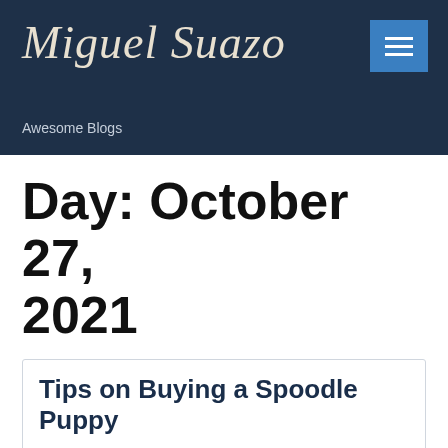Miguel Suazo
Awesome Blogs
Day: October 27, 2021
Tips on Buying a Spoodle Puppy
October 27, 2021 | miguelsuazo | 0 Comments
Spoodle puppies are adorable, and they have the personality to match. They are very intelligent, so